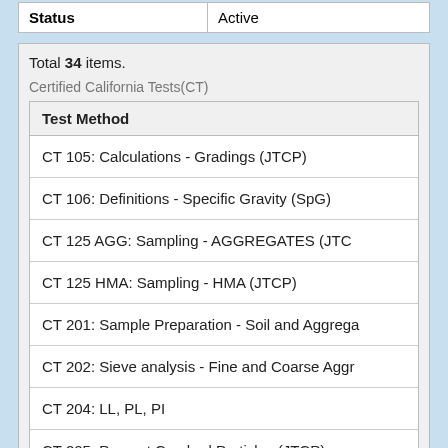| Status | Active |
| --- | --- |
| Status | Active |
Total 34 items.
Certified California Tests(CT)
| Test Method |
| --- |
| CT 105: Calculations - Gradings (JTCP) |
| CT 106: Definitions - Specific Gravity (SpG) |
| CT 125 AGG: Sampling - AGGREGATES (JTCP) |
| CT 125 HMA: Sampling - HMA (JTCP) |
| CT 201: Sample Preparation - Soil and Aggregates |
| CT 202: Sieve analysis - Fine and Coarse Aggregates |
| CT 204: LL, PL, PI |
| CT 205: Percent Crushed Particles (JTCP) |